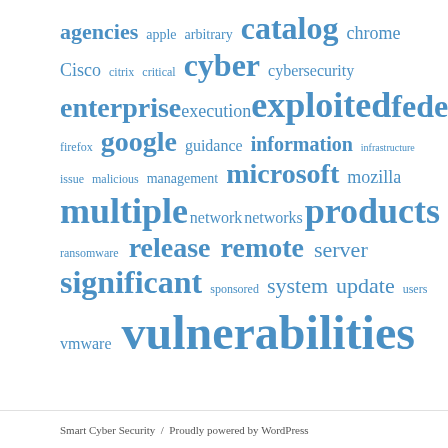[Figure (infographic): Tag cloud / word cloud of cybersecurity-related terms in varying font sizes, all in blue. Terms include: agencies, apple, arbitrary, catalog, chrome, Cisco, citrix, critical, cyber, cybersecurity, enterprise, execution, exploited, federal, firefox, google, guidance, information, infrastructure, issue, malicious, management, microsoft, mozilla, multiple, network, networks, products, ransomware, release, remote, server, significant, sponsored, system, update, users, vmware, vulnerabilities]
Smart Cyber Security / Proudly powered by WordPress